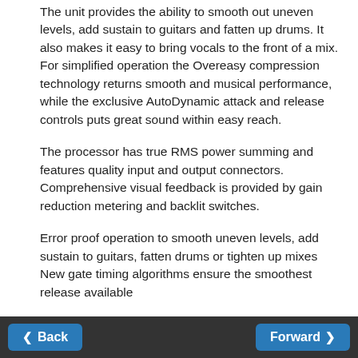The unit provides the ability to smooth out uneven levels, add sustain to guitars and fatten up drums. It also makes it easy to bring vocals to the front of a mix. For simplified operation the Overeasy compression technology returns smooth and musical performance, while the exclusive AutoDynamic attack and release controls puts great sound within easy reach.
The processor has true RMS power summing and features quality input and output connectors. Comprehensive visual feedback is provided by gain reduction metering and backlit switches.
Error proof operation to smooth uneven levels, add sustain to guitars, fatten drums or tighten up mixes
New gate timing algorithms ensure the smoothest release available
Back | Forward